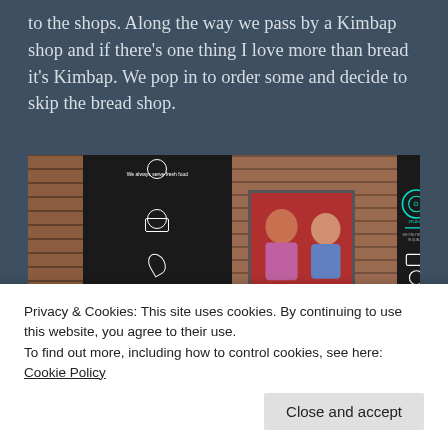to the shops. Along the way we pass by a Kimbap shop and if there's one thing I love more than bread it's Kimbap. We pop in to order some and decide to skip the bread shop.
[Figure (photo): Interior of a Kimbap shop showing dark menu/signage boards with white illustrated icons and text 'We always serve fresh food' and 'You always eat fresh food', red brick walls, and a TV screen mounted on the wall showing two children.]
Privacy & Cookies: This site uses cookies. By continuing to use this website, you agree to their use.
To find out more, including how to control cookies, see here: Cookie Policy